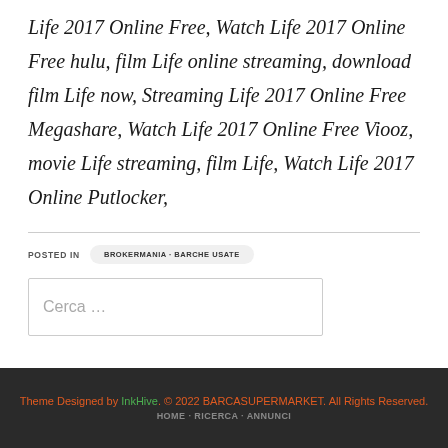Life 2017 Online Free, Watch Life 2017 Online Free hulu, film Life online streaming, download film Life now, Streaming Life 2017 Online Free Megashare, Watch Life 2017 Online Free Viooz, movie Life streaming, film Life, Watch Life 2017 Online Putlocker,
POSTED IN   BROKERMANIA - BARCHE USATE
Cerca ...
Theme Designed by InkHive. © 2022 BARCASUPERMARKET. All Rights Reserved.